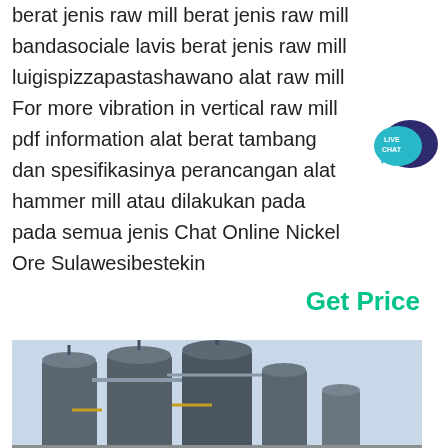berat jenis raw mill berat jenis raw mill bandasociale lavis berat jenis raw mill luigispizzapastashawano alat raw mill For more vibration in vertical raw mill pdf information alat berat tambang dan spesifikasinya perancangan alat hammer mill atau dilakukan pada pada semua jenis Chat Online Nickel Ore Sulawesibestekin
[Figure (other): Live Chat speech bubble icon in teal and dark blue]
Get Price
[Figure (photo): Industrial facility with large cylindrical storage tanks or silos against a light sky background]